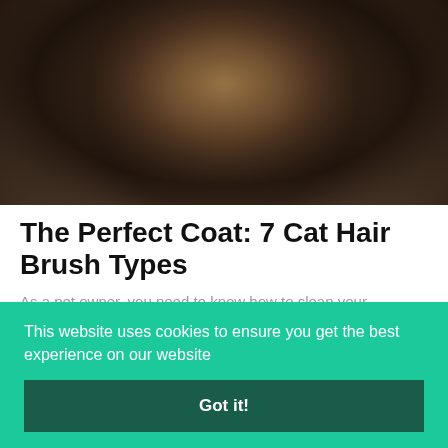[Figure (photo): A fluffy long-haired cat with tabby markings, facing the camera, set against a grey-purple background.]
The Perfect Coat: 7 Cat Hair Brush Types
As a pet owner, you need to know how to clean your…
FunnyDoyle — November 8, 2021
This website uses cookies to ensure you get the best experience on our website
Got it!